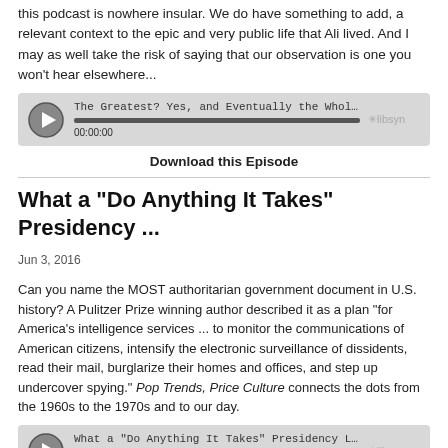this podcast is nowhere insular. We do have something to add, a relevant context to the epic and very public life that Ali lived. And I may as well take the risk of saying that our observation is one you won't hear elsewhere...
[Figure (screenshot): Libsyn podcast player widget showing episode 'The Greatest? Yes, and Eventually the Whole Planet Agre...' with play button, progress bar, and 00:00:00 timestamp]
Download this Episode
What a "Do Anything It Takes" Presidency ...
Jun 3, 2016
Can you name the MOST authoritarian government document in U.S. history? A Pulitzer Prize winning author described it as a plan "for America's intelligence services ... to monitor the communications of American citizens, intensify the electronic surveillance of dissidents, read their mail, burglarize their homes and offices, and step up undercover spying." Pop Trends, Price Culture connects the dots from the 1960s to the 1970s and to our day.
[Figure (screenshot): Libsyn podcast player widget showing episode 'What a "Do Anything It Takes" Presidency Looks Like' with play button, progress bar, and 00:00:00 timestamp]
Download this Episode